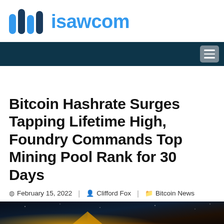isawcom
Bitcoin Hashrate Surges Tapping Lifetime High, Foundry Commands Top Mining Pool Rank for 30 Days
February 15, 2022 | Clifford Fox | Bitcoin News
[Figure (photo): Dark-toned article hero image at the bottom of the page]